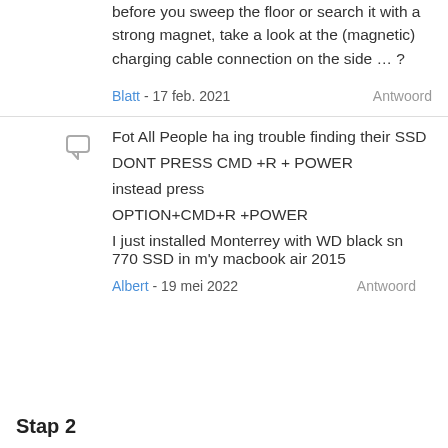before you sweep the floor or search it with a strong magnet, take a look at the (magnetic) charging cable connection on the side … ?
Blatt - 17 feb. 2021   Antwoord
Fot All People ha ing trouble finding their SSD
DONT PRESS CMD +R + POWER
instead press
OPTION+CMD+R +POWER
I just installed Monterrey with WD black sn 770 SSD in m'y macbook air 2015
Albert - 19 mei 2022   Antwoord
Stap 2